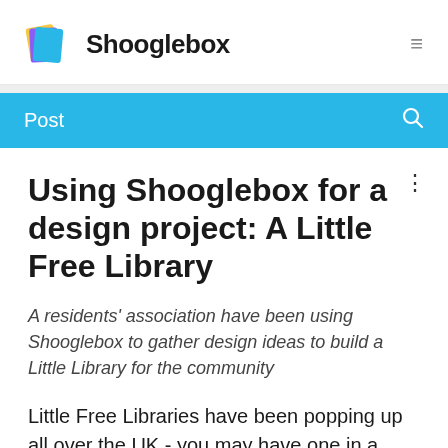Shooglebox
Post
Using Shooglebox for a design project: A Little Free Library
A residents' association have been using Shooglebox to gather design ideas to build a Little Library for the community
Little Free Libraries have been popping up all over the UK - you may have one in a community near you –